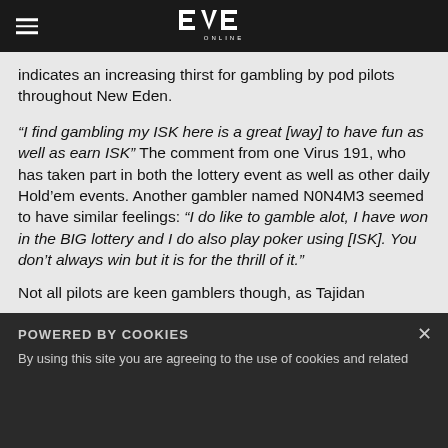EVE Online navigation bar
indicates an increasing thirst for gambling by pod pilots throughout New Eden.
“I find gambling my ISK here is a great [way] to have fun as well as earn ISK” The comment from one Virus 191, who has taken part in both the lottery event as well as other daily Hold’em events. Another gambler named N0N4M3 seemed to have similar feelings: “I do like to gamble alot, I have won in the BIG lottery and I do also play poker using [ISK]. You don’t always win but it is for the thrill of it.”
Not all pilots are keen gamblers though, as Tajidan
POWERED BY COOKIES
By using this site you are agreeing to the use of cookies and related